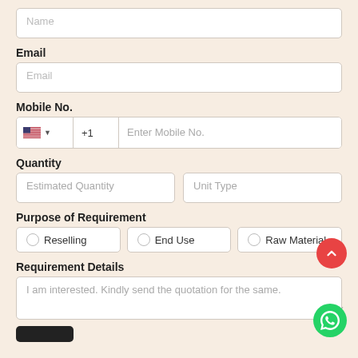Name (placeholder)
Email
Email (placeholder)
Mobile No.
+1  Enter Mobile No.
Quantity
Estimated Quantity  |  Unit Type
Purpose of Requirement
Reselling
End Use
Raw Material
Requirement Details
I am interested. Kindly send the quotation for the same.